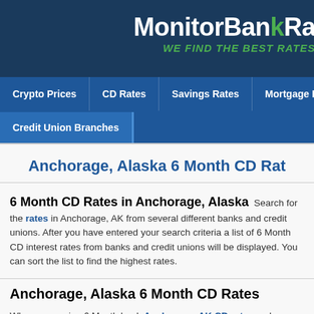MonitorBankRa WE FIND THE BEST RATES
Crypto Prices | CD Rates | Savings Rates | Mortgage Rates | C
Credit Union Branches
Anchorage, Alaska 6 Month CD Rat
6 Month CD Rates in Anchorage, Alaska  Search for the rates in Anchorage, AK from several different banks and credit unions. After you have entered your search criteria a list of 6 Month CD interest rates from banks and credit unions will be displayed. You can sort the list to find the highest rates.
Anchorage, Alaska 6 Month CD Rates
When comparing 6 Month bank Anchorage, AK CD rates make sure Anchorage, AK bank that has deposits insured by the Federal Deposit Corporation (FDIC). Deposits in Anchorage, AK banks that are insured guaranteed for up to $250,000 per depositor.